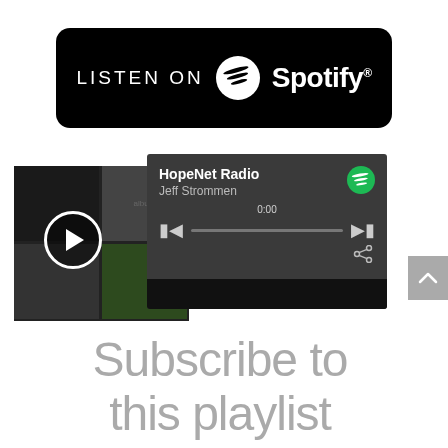[Figure (logo): Listen on Spotify badge — black rounded rectangle with 'LISTEN ON' text, Spotify circular logo icon, and 'Spotify' wordmark in white]
[Figure (screenshot): Spotify embedded player showing HopeNet Radio playlist by Jeff Strommen, with album art collage, play button, progress bar at 0:00, skip and share controls on dark background]
Subscribe to this playlist